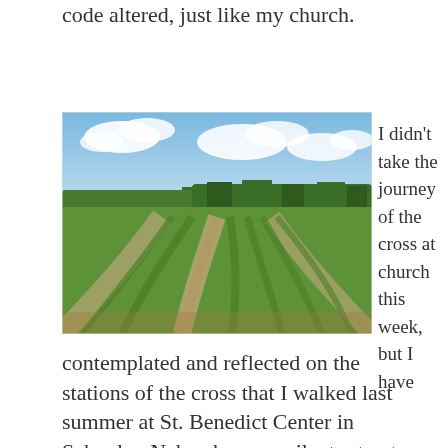code altered, just like my church.
[Figure (photo): Aerial-perspective photo of green crop rows in a farm field curving toward the horizon, with trees in the middle distance and a blue sky with white clouds above.]
I didn't take the journey of the cross at church this week, but I have contemplated and reflected on the stations of the cross that I walked last summer at St. Benedict Center in Schuyler, Nebraska, on a silent retreat with my sister Jana. The stations are beautiful
contemplated and reflected on the stations of the cross that I walked last summer at St. Benedict Center in Schuyler, Nebraska, on a silent retreat with my sister Jana. The stations are beautiful